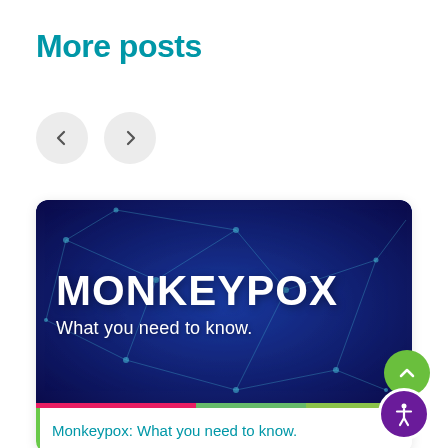More posts
[Figure (illustration): Navigation arrows: left chevron and right chevron buttons for carousel navigation]
[Figure (infographic): Monkeypox: What you need to know. Dark blue background with blue neural/virus network imagery. Large white bold text MONKEYPOX and subtitle What you need to know.]
Monkeypox: What you need to know.